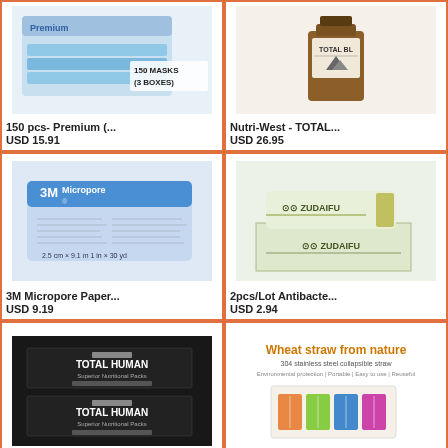[Figure (photo): Box of 150 disposable face masks (3 boxes) - blue surgical masks]
150 pcs- Premium (..
USD 15.91
[Figure (photo): Nutri-West Total Bl amber glass bottle supplement]
Nutri-West - TOTAL...
USD 26.95
[Figure (photo): 3M Micropore Paper tape box]
3M Micropore Paper...
USD 9.19
[Figure (photo): 2pcs Zudaifu antibacterial cream tubes in box]
2pcs/Lot Antibacte...
USD 2.94
[Figure (photo): Total Human black supplement box]
[Figure (photo): Wheat straw from nature - 304 stainless steel collapsible straw promotional image]